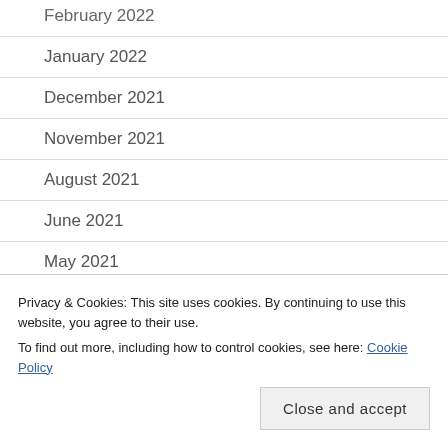February 2022
January 2022
December 2021
November 2021
August 2021
June 2021
May 2021
April 2021
March 2021
February 2021
August 2020
Privacy & Cookies: This site uses cookies. By continuing to use this website, you agree to their use. To find out more, including how to control cookies, see here: Cookie Policy
Close and accept